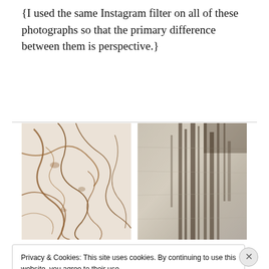{I used the same Instagram filter on all of these photographs so that the primary difference between them is perspective.}
[Figure (photo): Two side-by-side photographs with Instagram filter applied. Left: close-up of marble or stone surface with cream background and brown branching veins/cracks. Right: textured surface (possibly glass or wall) with vertical dark streaks and a silvery-grey appearance.]
Privacy & Cookies: This site uses cookies. By continuing to use this website, you agree to their use.
To find out more, including how to control cookies, see here: Cookie Policy
Close and accept